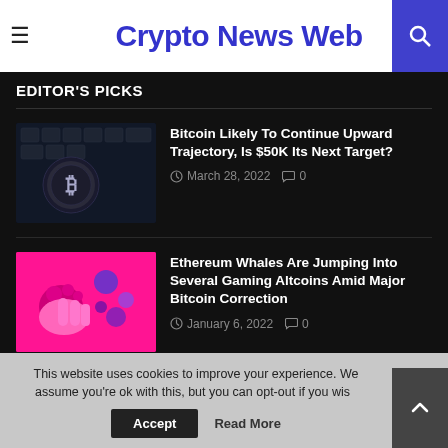Crypto News Web
EDITOR'S PICKS
Bitcoin Likely To Continue Upward Trajectory, Is $50K Its Next Target?
March 28, 2022  0
Ethereum Whales Are Jumping Into Several Gaming Altcoins Amid Major Bitcoin Correction
January 6, 2022  0
Indian Finance Minister Sees “Clear Advantages” in CBDC
This website uses cookies to improve your experience. We assume you're ok with this, but you can opt-out if you wish.